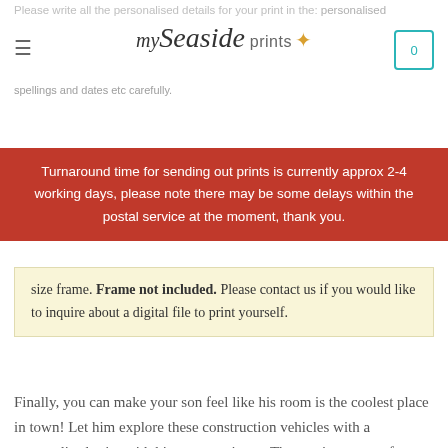Please write all the personalised details for your print in the personalised section above, check all spellings and dates etc carefully.
[Figure (logo): my Seaside prints logo with starfish icon]
Turnaround time for sending out prints is currently approx 2-4 working days, please note there may be some delays within the postal service at the moment, thank you.
size frame. Frame not included. Please contact us if you would like to inquire about a digital file to print yourself.
Finally, you can make your son feel like his room is the coolest place in town! Let him explore these construction vehicles with a personalised print with his name on it too. These prints are perfect to brighten up any play area or bedroom. With fun pictures of their favourite tractor and trucks, they will be sure to develop good artwork skills too – all because of this fantastic set of 3 boys construction themed prints for